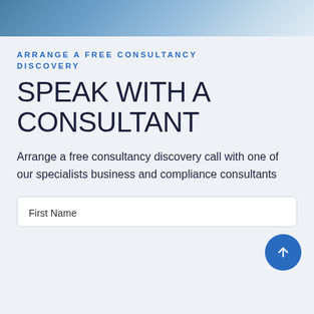[Figure (photo): Partial photo strip at top of page showing an aerial or landscape scene with blue tones]
ARRANGE A FREE CONSULTANCY DISCOVERY
SPEAK WITH A CONSULTANT
Arrange a free consultancy discovery call with one of our specialists business and compliance consultants
First Name